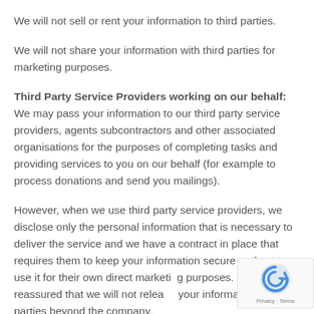We will not sell or rent your information to third parties.
We will not share your information with third parties for marketing purposes.
Third Party Service Providers working on our behalf: We may pass your information to our third party service providers, agents subcontractors and other associated organisations for the purposes of completing tasks and providing services to you on our behalf (for example to process donations and send you mailings).
However, when we use third party service providers, we disclose only the personal information that is necessary to deliver the service and we have a contract in place that requires them to keep your information secure and not to use it for their own direct marketing purposes. Please be reassured that we will not release your information to third parties beyond the company,